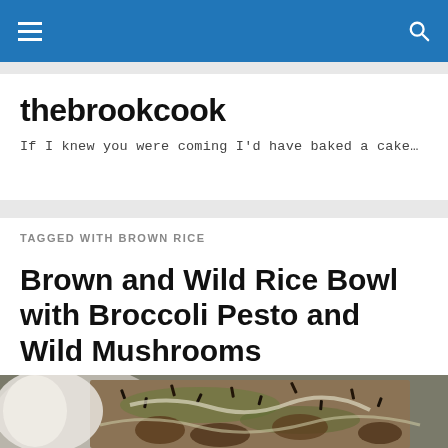thebrookcook navigation bar
thebrookcook
If I knew you were coming I'd have baked a cake…
TAGGED WITH BROWN RICE
Brown and Wild Rice Bowl with Broccoli Pesto and Wild Mushrooms
[Figure (photo): Close-up food photo of a brown and wild rice bowl with broccoli pesto and wild mushrooms served in a white bowl]